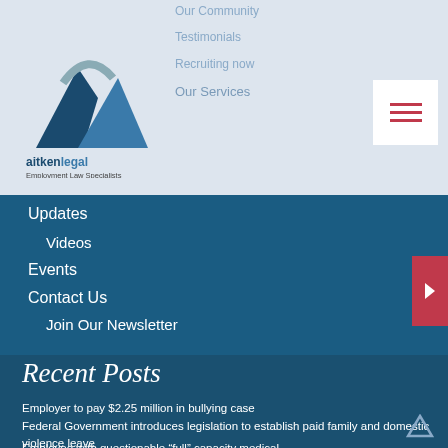[Figure (logo): Aitken Legal logo with mountain/bird graphic and text 'aitKenLegal Employment Law Specialists']
Our Community
Testimonials
Recruiting now
Our Services
Updates
Videos
Events
Contact Us
Join Our Newsletter
Recent Posts
Employer to pay $2.25 million in bullying case
Federal Government introduces legislation to establish paid family and domestic violence leave
Employee with questionable “full” capacity medical